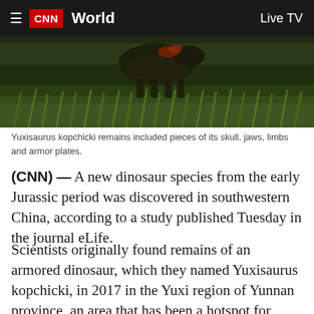CNN World | Live TV
[Figure (photo): A dinosaur (Yuxisaurus kopchicki) illustration or CGI rendering on green grass background, partially visible at top]
Yuxisaurus kopchicki remains included pieces of its skull, jaws, limbs and armor plates.
(CNN) — A new dinosaur species from the early Jurassic period was discovered in southwestern China, according to a study published Tuesday in the journal eLife.
Scientists originally found remains of an armored dinosaur, which they named Yuxisaurus kopchicki, in 2017 in the Yuxi region of Yunnan province, an area that has been a hotspot for dinosaur discoveries. Research on the specimens began in 2019,